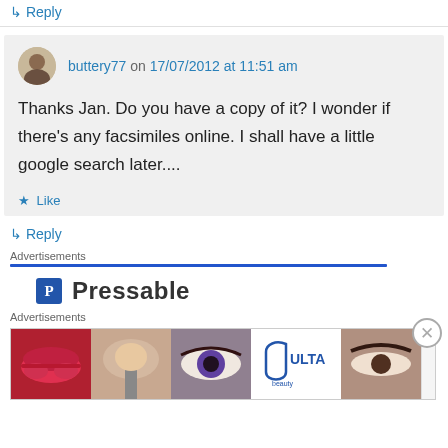↪ Reply
buttery77 on 17/07/2012 at 11:51 am
Thanks Jan. Do you have a copy of it? I wonder if there's any facsimiles online. I shall have a little google search later....
★ Like
↪ Reply
Advertisements
[Figure (logo): Pressable logo with blue P icon]
Advertisements
[Figure (infographic): ULTA beauty advertisement banner with makeup images and SHOP NOW text]